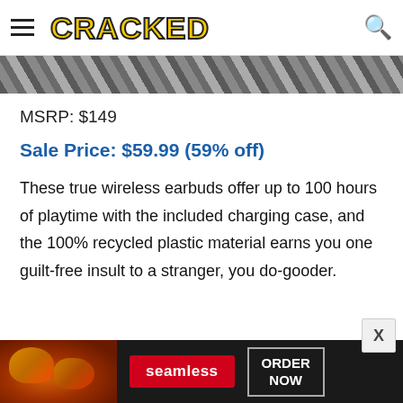CRACKED
[Figure (photo): Partial image strip showing a textured diagonal pattern, cropped at top of content area]
MSRP: $149
Sale Price: $59.99 (59% off)
These true wireless earbuds offer up to 100 hours of playtime with the included charging case, and the 100% recycled plastic material earns you one guilt-free insult to a stranger, you do-gooder.
[Figure (photo): Advertisement banner for Seamless food delivery service showing pizza images, Seamless logo, and ORDER NOW button]